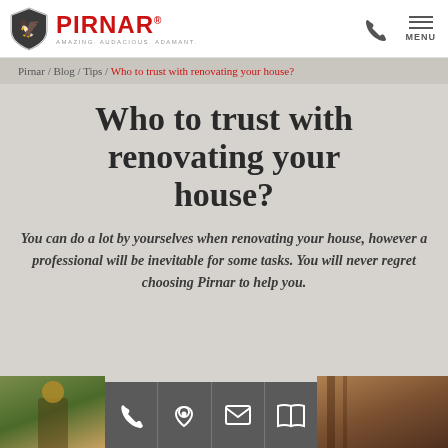PIRNAR — AMAZING. AUDACIOUS. ADAMANT.
Pirnar / Blog / Tips / Who to trust with renovating your house?
Who to trust with renovating your house?
You can do a lot by yourselves when renovating your house, however a professional will be inevitable for some tasks. You will never regret choosing Pirnar to help you.
[Figure (screenshot): Bottom bar with phone, location, email, and book icons on dark grey background, flanked by photo strips]